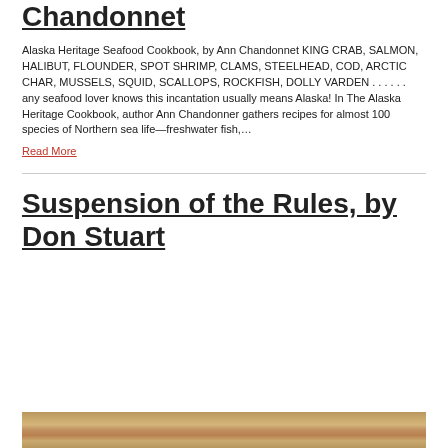Chandonnet
Alaska Heritage Seafood Cookbook, by Ann Chandonnet KING CRAB, SALMON, HALIBUT, FLOUNDER, SPOT SHRIMP, CLAMS, STEELHEAD, COD, ARCTIC CHAR, MUSSELS, SQUID, SCALLOPS, ROCKFISH, DOLLY VARDEN . . . . . . any seafood lover knows this incantation usually means Alaska! In The Alaska Heritage Cookbook, author Ann Chandonner gathers recipes for almost 100 species of Northern sea life—freshwater fish,…
Read More
Suspension of the Rules, by Don Stuart
[Figure (photo): Bottom strip showing a wooden surface or book cover, tan/brown wood-toned image]